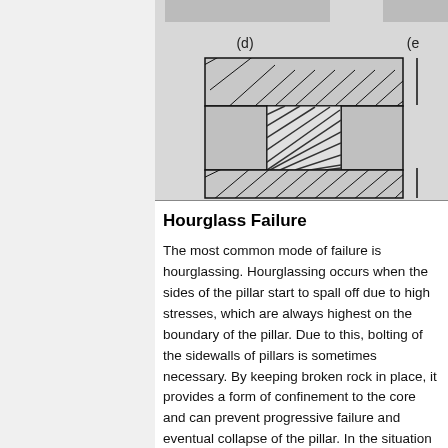[Figure (engineering-diagram): Partial engineering diagram showing label (d) and partial label (e) at top, with a cross-section of a pillar structure showing hatched failure zones in the middle section, flanked by grey rectangular blocks, set against a grey background.]
Hourglass Failure
The most common mode of failure is hourglassing. Hourglassing occurs when the sides of the pillar start to spall off due to high stresses, which are always highest on the boundary of the pillar. Due to this, bolting of the sidewalls of pillars is sometimes necessary. By keeping broken rock in place, it provides a form of confinement to the core and can prevent progressive failure and eventual collapse of the pillar. In the situation that there is a fault or large joint cutting the pillar, displacement on it will usually be the mode of failure [8].
Foundation Failure